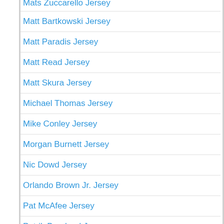Mats Zuccarello Jersey
Matt Bartkowski Jersey
Matt Paradis Jersey
Matt Read Jersey
Matt Skura Jersey
Michael Thomas Jersey
Mike Conley Jersey
Morgan Burnett Jersey
Nic Dowd Jersey
Orlando Brown Jr. Jersey
Pat McAfee Jersey
Patrik Berglund Jersey
Pau Gasol Jersey